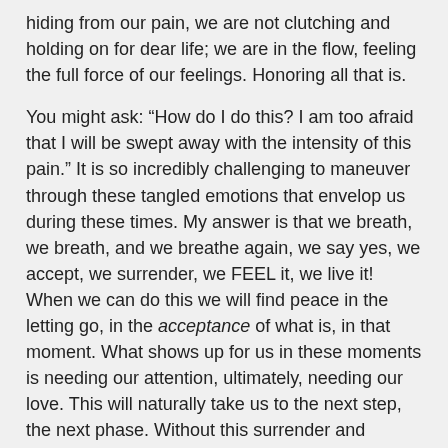hiding from our pain, we are not clutching and holding on for dear life; we are in the flow, feeling the full force of our feelings. Honoring all that is.

You might ask: “How do I do this? I am too afraid that I will be swept away with the intensity of this pain.” It is so incredibly challenging to maneuver through these tangled emotions that envelop us during these times. My answer is that we breath, we breath, and we breathe again, we say yes, we accept, we surrender, we FEEL it, we live it! When we can do this we will find peace in the letting go, in the acceptance of what is, in that moment. What shows up for us in these moments is needing our attention, ultimately, needing our love. This will naturally take us to the next step, the next phase. Without this surrender and allowing, we can get caught and ultimately trapped in a holding pattern that will lead to stagnation with our healing process. This happens to all of us at times. It takes immense courage to dive into those troubled waters over and over again. It takes practice to develop trust in knowing we are always held in love. Trust that there is a way through, that we will not drown in the the depths never to be seen again. We are all held in Divine Love as we take each and every breath. We are never left alone to fend for ourselves. We are surrounded by life preservers. They show